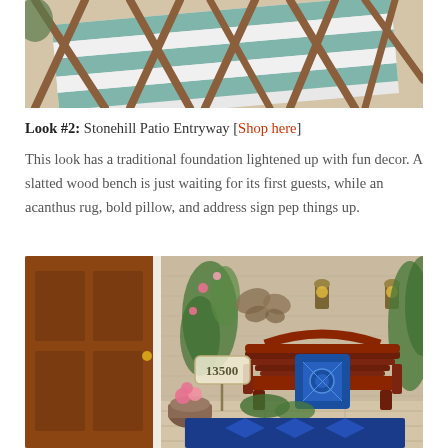[Figure (photo): Top portion of a striped teal and white outdoor rug with folded wooden patio chairs/furniture on a tile floor]
Look #2: Stonehill Patio Entryway [Shop here]
This look has a traditional foundation lightened up with fun decor. A slatted wood bench is just waiting for its first guests, while an acanthus rug, bold pillow, and address sign pep things up.
[Figure (photo): A patio entryway scene with a wooden front door, a dark cherry wood bench with a blue patterned pillow, an address sign stake (13500), climbing flowers/greenery, wall sconces, and a blue patterned rug on a tile floor.]